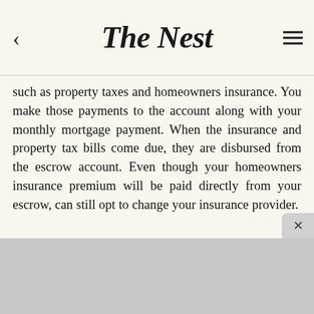The Nest
such as property taxes and homeowners insurance. You make those payments to the account along with your monthly mortgage payment. When the insurance and property tax bills come due, they are disbursed from the escrow account. Even though your homeowners insurance premium will be paid directly from your escrow, can still opt to change your insurance provider.